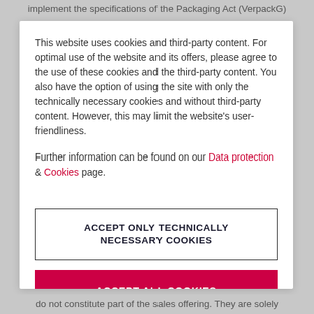implement the specifications of the Packaging Act (VerpackG)
This website uses cookies and third-party content. For optimal use of the website and its offers, please agree to the use of these cookies and the third-party content. You also have the option of using the site with only the technically necessary cookies and without third-party content. However, this may limit the website's user-friendliness.
Further information can be found on our Data protection & Cookies page.
ACCEPT ONLY TECHNICALLY NECESSARY COOKIES
ACCEPT ALL COOKIES
do not constitute part of the sales offering. They are solely